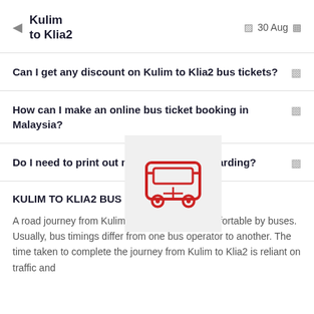Kulim to Klia2 | 30 Aug
Can I get any discount on Kulim to Klia2 bus tickets?
How can I make an online bus ticket booking in Malaysia?
[Figure (illustration): Red bus icon on light grey square background]
Do I need to print out my ticket before boarding?
KULIM TO KLIA2 BUS
A road journey from Kulim to Klia2 is made comfortable by buses. Usually, bus timings differ from one bus operator to another. The time taken to complete the journey from Kulim to Klia2 is reliant on traffic and